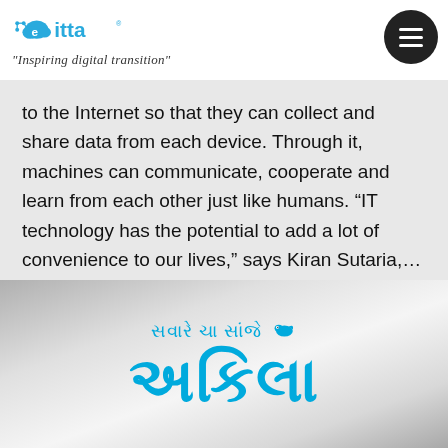[Figure (logo): Citta logo with cloud and circuit icon in blue, brand name 'citta' with registered trademark]
"Inspiring digital transition"
to the Internet so that they can collect and share data from each device. Through it, machines can communicate, cooperate and learn from each other just like humans. “IT technology has the potential to add a lot of convenience to our lives,” says Kiran Sutaria,...
[Figure (logo): Gujarati newspaper logo with text in Gujarati script in cyan/blue color on gradient grey background, reading 'savare cha sanje' and 'akila']